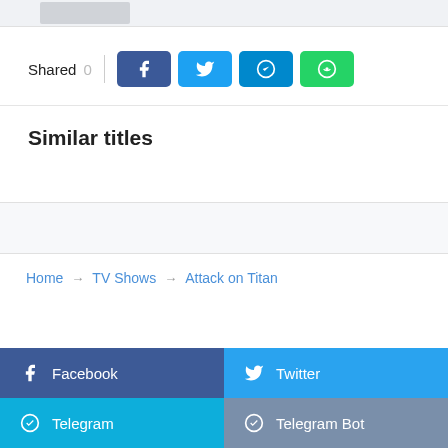Shared 0
Similar titles
Home → TV Shows → Attack on Titan
Facebook  Twitter  Telegram  Telegram Bot